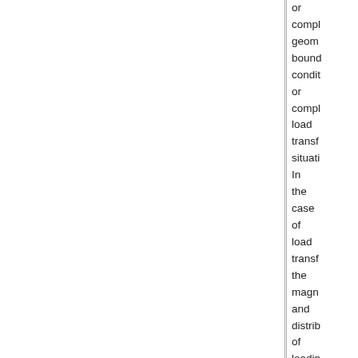or complex geometry, boundary conditions or complex load transfer situations. In the case of load transfer, the magnitude and distribution of loading may be unknown. With